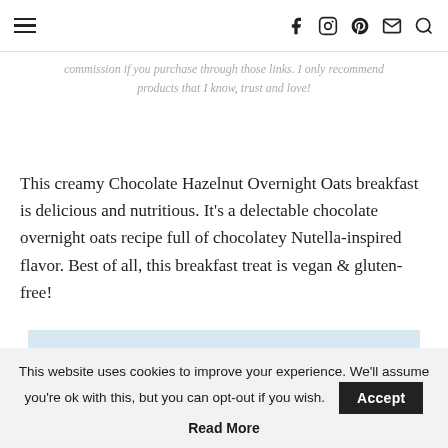Navigation header with hamburger menu and social icons (Facebook, Instagram, Pinterest, email, search)
commission if you purchase through those links. I only recommend products that I know, trust and love!
This creamy Chocolate Hazelnut Overnight Oats breakfast is delicious and nutritious. It's a delectable chocolate overnight oats recipe full of chocolatey Nutella-inspired flavor. Best of all, this breakfast treat is vegan & gluten-free!
[Figure (photo): Photo of chocolate hazelnut overnight oats in a white bowl on a marble surface]
This website uses cookies to improve your experience. We'll assume you're ok with this, but you can opt-out if you wish.
Read More